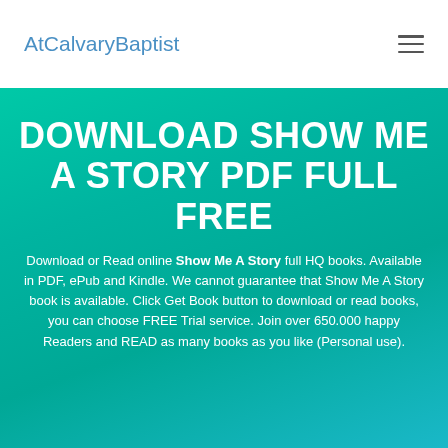AtCalvaryBaptist
DOWNLOAD SHOW ME A STORY PDF FULL FREE
Download or Read online Show Me A Story full HQ books. Available in PDF, ePub and Kindle. We cannot guarantee that Show Me A Story book is available. Click Get Book button to download or read books, you can choose FREE Trial service. Join over 650.000 happy Readers and READ as many books as you like (Personal use).